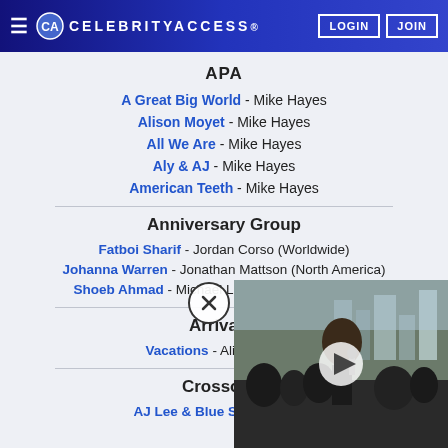CELEBRITYACCESS | LOGIN | JOIN
APA
A Great Big World - Mike Hayes
Alison Moyet - Mike Hayes
All We Are - Mike Hayes
Aly & AJ - Mike Hayes
American Teeth - Mike Hayes
Anniversary Group
Fatboi Sharif - Jordan Corso (Worldwide)
Johanna Warren - Jonathan Mattson (North America)
Shoeb Ahmad - Michael Lojudice (North America)
Arrival A...
Vacations - Ali Hedrick (N...
Crossover...
AJ Lee & Blue Summit - Cha...
[Figure (screenshot): Video player overlay showing a crowd at an outdoor event, with a white circular play button in the center and a close (X) button to the upper left.]